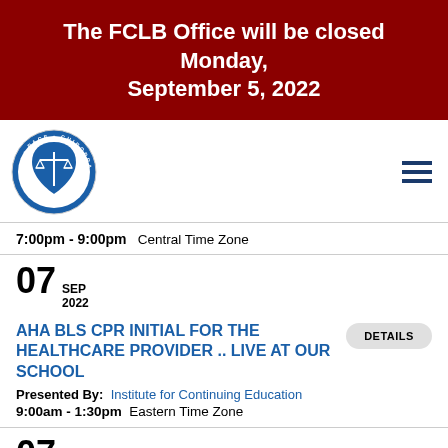The FCLB Office will be closed Monday, September 5, 2022
[Figure (logo): FCLB PACE Chiropractic CE Provider recognized seal/logo in blue and white circular badge]
7:00pm - 9:00pm  Central Time Zone
07 SEP 2022
AHA BLS CPR INITIAL FOR THE HEALTHCARE PROVIDER .. LIVE AT OUR SCHOOL
Presented By:  Institute for Continuing Education
9:00am - 1:30pm  Eastern Time Zone
07 SEP 2022